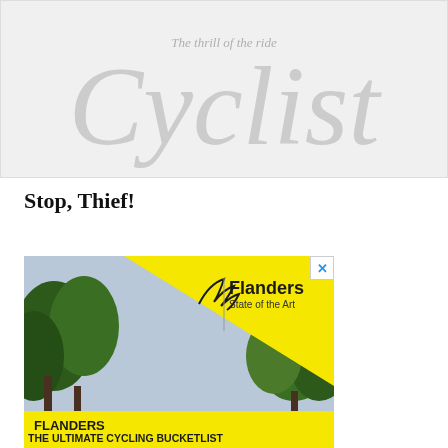[Figure (logo): Cyclist magazine logo on light grey background. Large italic serif text 'Cyclist' in grey with tagline 'The thrill of the ride' above it.]
Stop, Thief!
[Figure (illustration): Advertisement for Flanders State of the Art cycling tourism. Yellow triangle with Flanders logo and text 'Flanders State of the Art' on right, photo of trees/forest and sky, yellow banner at bottom with 'FLANDERS' and 'THE ULTIMATE CYCLING BUCKETLIST'. Close button (X) in top right corner.]